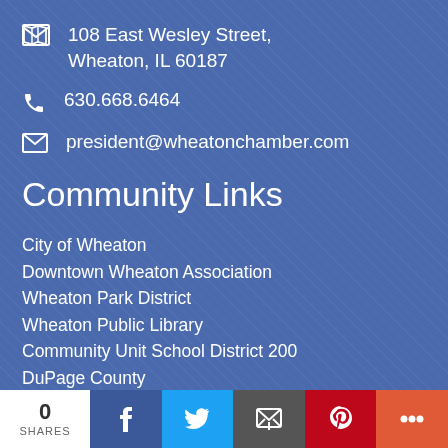108 East Wesley Street, Wheaton, IL 60187
630.668.6464
president@wheatonchamber.com
Community Links
City of Wheaton
Downtown Wheaton Association
Wheaton Park District
Wheaton Public Library
Community Unit School District 200
DuPage County
DuPage County Forest Preserve District
Community Resource Information System
0 SHARES